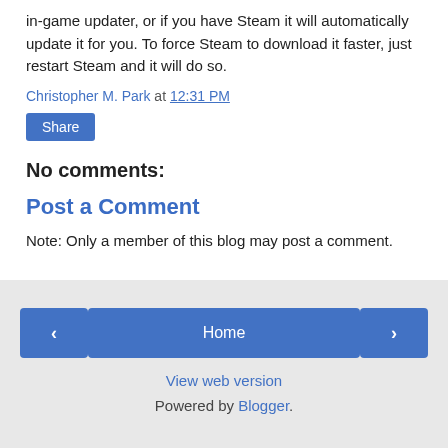in-game updater, or if you have Steam it will automatically update it for you. To force Steam to download it faster, just restart Steam and it will do so.
Christopher M. Park at 12:31 PM
Share
No comments:
Post a Comment
Note: Only a member of this blog may post a comment.
‹  Home  ›  View web version  Powered by Blogger.